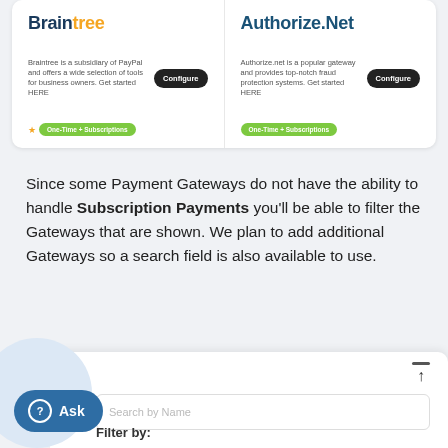[Figure (screenshot): Two payment gateway cards side by side: Braintree and Authorize.Net, each with description text, Configure button, and One-Time + Subscriptions badge]
Since some Payment Gateways do not have the ability to handle Subscription Payments you'll be able to filter the Gateways that are shown. We plan to add additional Gateways so a search field is also available to use.
[Figure (screenshot): A UI panel showing a Search by Name input field and a Filter by label at the bottom, with scroll indicators and an Ask chat button overlay]